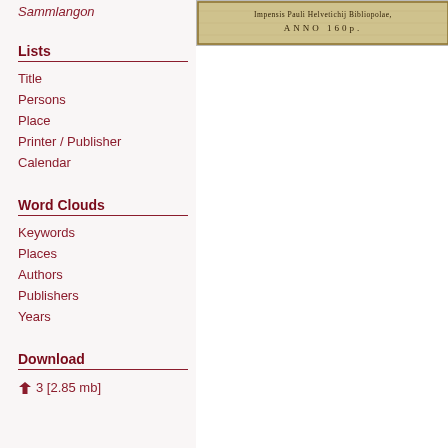Sammlangon
Lists
Title
Persons
Place
Printer / Publisher
Calendar
Word Clouds
Keywords
Places
Authors
Publishers
Years
Download
3 [2.85 mb]
[Figure (photo): Old book title page showing text: Impensis Pauli Helvetichij Bibliopolae, ANNO 160p.]